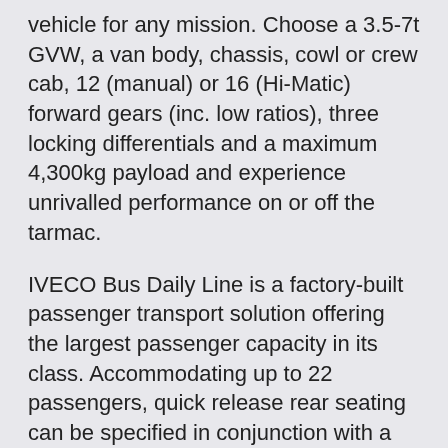vehicle for any mission. Choose a 3.5-7t GVW, a van body, chassis, cowl or crew cab, 12 (manual) or 16 (Hi-Matic) forward gears (inc. low ratios), three locking differentials and a maximum 4,300kg payload and experience unrivalled performance on or off the tarmac.
IVECO Bus Daily Line is a factory-built passenger transport solution offering the largest passenger capacity in its class. Accommodating up to 22 passengers, quick release rear seating can be specified in conjunction with a rear-access wheelchair lift for travellers with reduced mobility. Up front, manual, sliding or electrically operated plug doors make it the ideal response for inter-city, airport or school transportation.
A long-time favourite with urban fleets, Eurocargo was the first mid-weight truck to offer an automated transmission as standard boasting superb